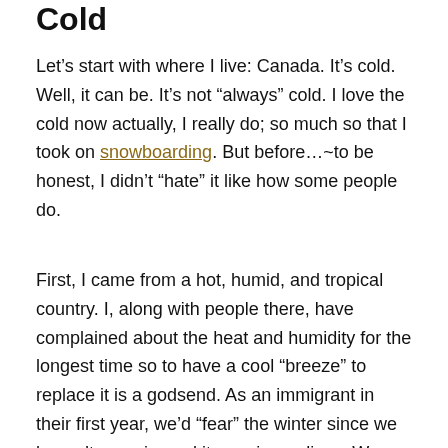Cold
Let’s start with where I live: Canada. It’s cold. Well, it can be. It’s not “always” cold. I love the cold now actually, I really do; so much so that I took on snowboarding. But before…~to be honest, I didn’t “hate” it like how some people do.
First, I came from a hot, humid, and tropical country. I, along with people there, have complained about the heat and humidity for the longest time so to have a cool “breeze” to replace it is a godsend. As an immigrant in their first year, we’d “fear” the winter since we haven’t experienced it ever in our lives. We wouldn’t know how we would fare. I was also a student back then so I knew there would be a lot of “waiting outside the bus stop”